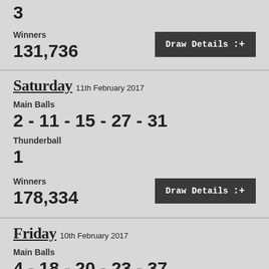3
Winners
131,736
Draw Details
Saturday 11th February 2017
Main Balls
2 - 11 - 15 - 27 - 31
Thunderball
1
Winners
178,334
Draw Details
Friday 10th February 2017
Main Balls
4 - 18 - 20 - 23 - 37
Thunderball
2